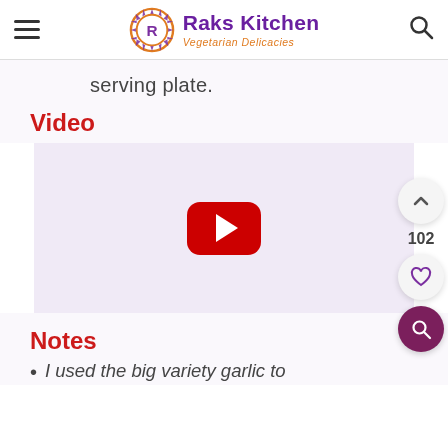Raks Kitchen – Vegetarian Delicacies
serving plate.
Video
[Figure (other): YouTube video embed placeholder with red play button on light purple background]
Notes
I used the big variety garlic to